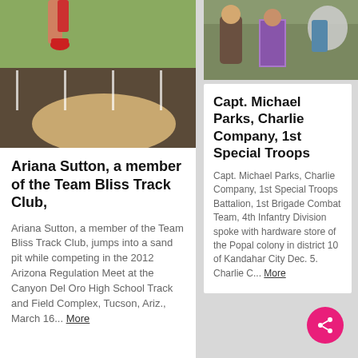[Figure (photo): Track and field photo showing a sand pit and track lanes, athlete jumping]
Ariana Sutton, a member of the Team Bliss Track Club,
Ariana Sutton, a member of the Team Bliss Track Club, jumps into a sand pit while competing in the 2012 Arizona Regulation Meet at the Canyon Del Oro High School Track and Field Complex, Tucson, Ariz., March 16... More
[Figure (photo): Military personnel photo, soldiers in a hardware store]
Capt. Michael Parks, Charlie Company, 1st Special Troops
Capt. Michael Parks, Charlie Company, 1st Special Troops Battalion, 1st Brigade Combat Team, 4th Infantry Division spoke with hardware store of the Popal colony in district 10 of Kandahar City Dec. 5. Charlie C... More